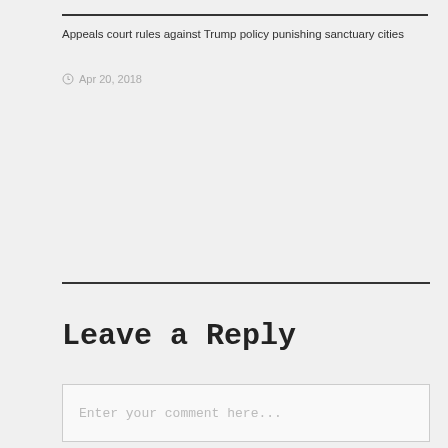Appeals court rules against Trump policy punishing sanctuary cities
Apr 20, 2018
Leave a Reply
Enter your comment here...